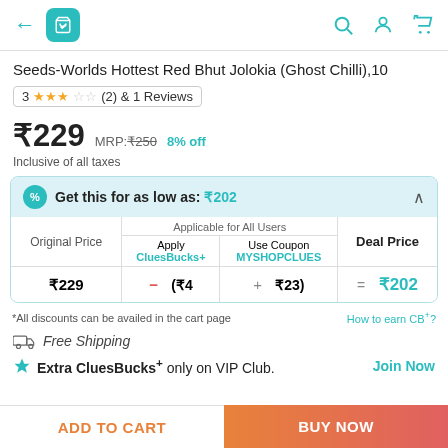← [cart icon] [search] [user] [cart]
Seeds-Worlds Hottest Red Bhut Jolokia (Ghost Chilli),10
3 ★★★☆☆ (2) & 1 Reviews
₹229  MRP:₹250  8% off
Inclusive of all taxes
| Original Price | Applicable for All Users - Apply CluesBucks+ | Applicable for All Users - Use Coupon MYSHOPCLUES | Deal Price |
| --- | --- | --- | --- |
| ₹229 | (₹4 | ₹23) | ₹202 |
*All discounts can be availed in the cart page
How to earn CB+?
Free Shipping
Extra CluesBucks+ only on VIP Club.
Join Now
ADD TO CART
BUY NOW